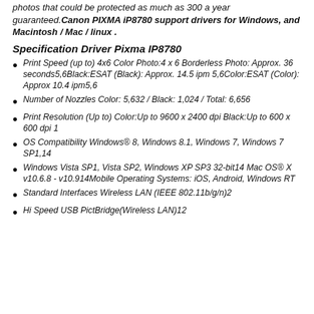photos that could be protected as much as 300 a year guaranteed.Canon PIXMA iP8780 support drivers for Windows, and Macintosh / Mac / linux .
Specification Driver Pixma IP8780
Print Speed (up to) 4x6 Color Photo:4 x 6 Borderless Photo: Approx. 36 seconds5,6Black:ESAT (Black): Approx. 14.5 ipm 5,6Color:ESAT (Color): Approx 10.4 ipm5,6
Number of Nozzles Color: 5,632 / Black: 1,024 / Total: 6,656
Print Resolution (Up to) Color:Up to 9600 x 2400 dpi Black:Up to 600 x 600 dpi 1
OS Compatibility Windows® 8, Windows 8.1, Windows 7, Windows 7 SP1,14
Windows Vista SP1, Vista SP2, Windows XP SP3 32-bit14 Mac OS® X v10.6.8 - v10.914Mobile Operating Systems: iOS, Android, Windows RT
Standard Interfaces Wireless LAN (IEEE 802.11b/g/n)2
Hi Speed USB PictBridge(Wireless LAN)12